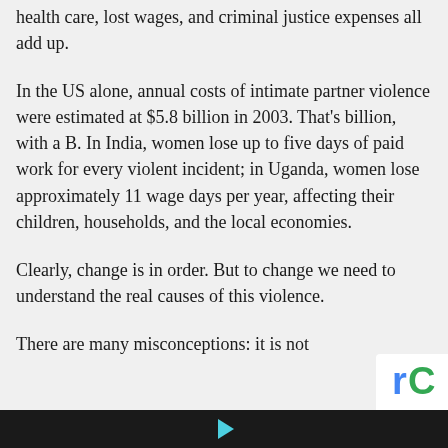health care, lost wages, and criminal justice expenses all add up.
In the US alone, annual costs of intimate partner violence were estimated at $5.8 billion in 2003. That's billion, with a B. In India, women lose up to five days of paid work for every violent incident; in Uganda, women lose approximately 11 wage days per year, affecting their children, households, and the local economies.
Clearly, change is in order. But to change we need to understand the real causes of this violence.
There are many misconceptions: it is not